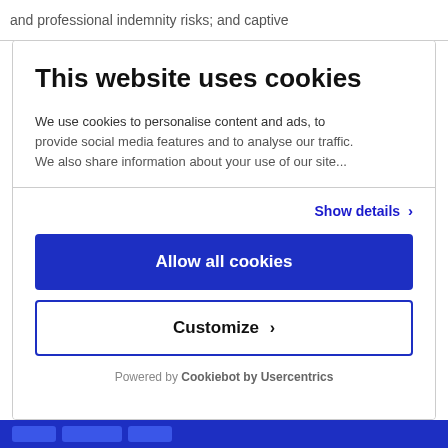and professional indemnity risks; and captive
This website uses cookies
We use cookies to personalise content and ads, to provide social media features and to analyse our traffic. We also share information about your use of our site...
Show details ›
Allow all cookies
Customize ›
Powered by Cookiebot by Usercentrics